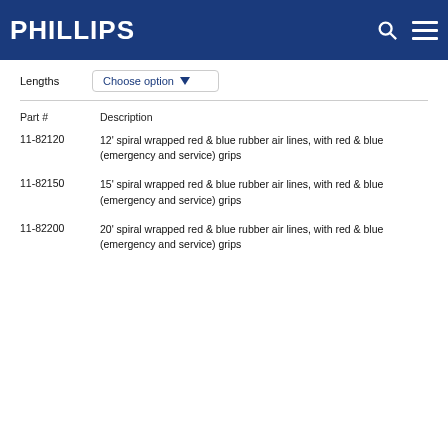PHILLIPS
Lengths   Choose option
| Part # | Description |
| --- | --- |
| 11-82120 | 12' spiral wrapped red & blue rubber air lines, with red & blue (emergency and service) grips |
| 11-82150 | 15' spiral wrapped red & blue rubber air lines, with red & blue (emergency and service) grips |
| 11-82200 | 20' spiral wrapped red & blue rubber air lines, with red & blue (emergency and service) grips |